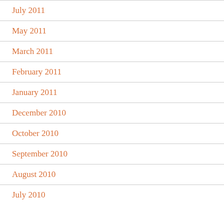July 2011
May 2011
March 2011
February 2011
January 2011
December 2010
October 2010
September 2010
August 2010
July 2010